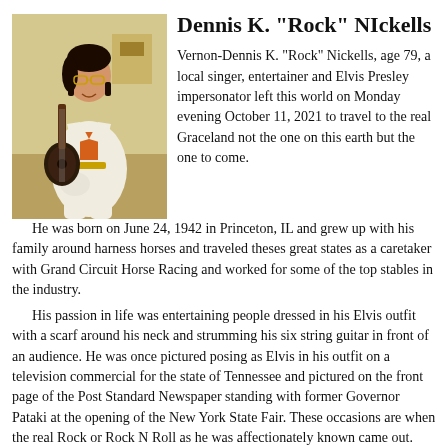[Figure (photo): Photo of Dennis K. 'Rock' Nickells dressed as Elvis Presley in a white jumpsuit, holding a guitar, sitting in a posed position.]
Dennis K. "Rock" NIckells
Vernon-Dennis K. "Rock" Nickells, age 79, a local singer, entertainer and Elvis Presley impersonator left this world on Monday evening October 11, 2021 to travel to the real Graceland not the one on this earth but the one to come.
He was born on June 24, 1942 in Princeton, IL and grew up with his family around harness horses and traveled theses great states as a caretaker with Grand Circuit Horse Racing and worked for some of the top stables in the industry.
His passion in life was entertaining people dressed in his Elvis outfit with a scarf around his neck and strumming his six string guitar in front of an audience. He was once pictured posing as Elvis in his outfit on a television commercial for the state of Tennessee and pictured on the front page of the Post Standard Newspaper standing with former Governor Pataki at the opening of the New York State Fair.  These occasions are when the real Rock or Rock N Roll as he was affectionately known came out.